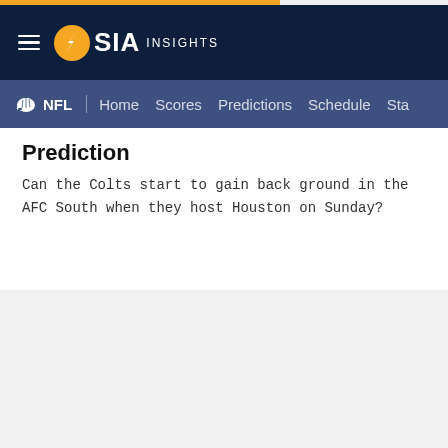SIA INSIGHTS
NFL | Home Scores Predictions Schedule Sta
Prediction
Can the Colts start to gain back ground in the AFC South when they host Houston on Sunday?
NFL
Cowboys vs. Patriots Point Spread: NFL Week 6 Odds, Prediction
The New England Patriots will be aiming to win two in a row for the first time since Week 13 of last season, when they play host